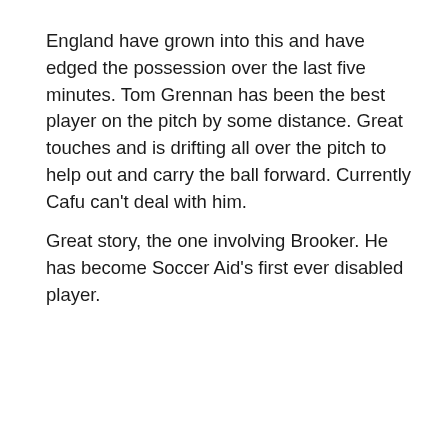England have grown into this and have edged the possession over the last five minutes. Tom Grennan has been the best player on the pitch by some distance. Great touches and is drifting all over the pitch to help out and carry the ball forward. Currently Cafu can't deal with him.
Great story, the one involving Brooker. He has become Soccer Aid's first ever disabled player.